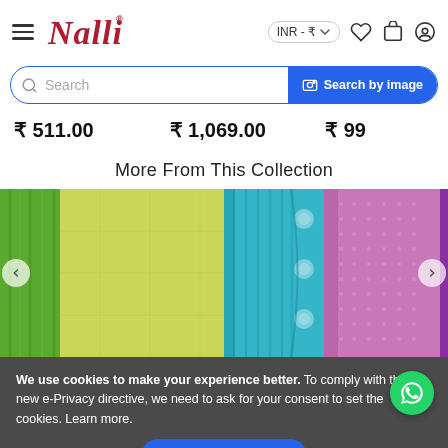[Figure (screenshot): Nalli website header with hamburger menu, Nalli logo in red italic script, INR currency selector, heart icon, cart icon, and user icon]
[Figure (screenshot): Search bar with magnifier icon, placeholder text 'Search', and blue 'Search by image' button on the right]
₹ 511.00   ₹ 1,069.00   ₹ 99
More From This Collection
[Figure (photo): Green/yellow saree fabric folded, showing texture and pleats]
[Figure (photo): Teal blue saree with white motifs and pink/purple woven border]
We use cookies to make your experience better. To comply with the new e-Privacy directive, we need to ask for your consent to set the cookies. Learn more.
Allow Cookies